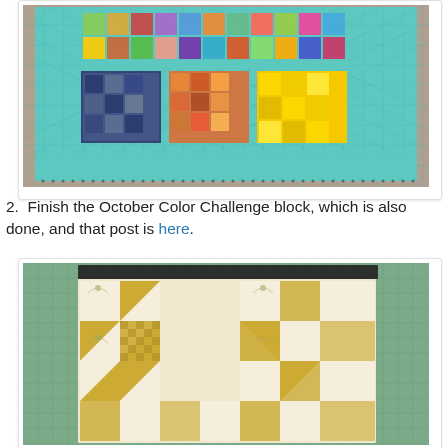[Figure (photo): Photo of a colorful patchwork quilt laid flat, featuring multi-colored fabric squares on a teal/turquoise background with quilted diamond pattern and decorative border.]
2.  Finish the October Color Challenge block, which is also done, and that post is here.
[Figure (photo): Photo of a yellow/gold star-pattern quilt block on a green cutting mat, featuring two eight-pointed stars made from yellow and cream patterned fabric.]